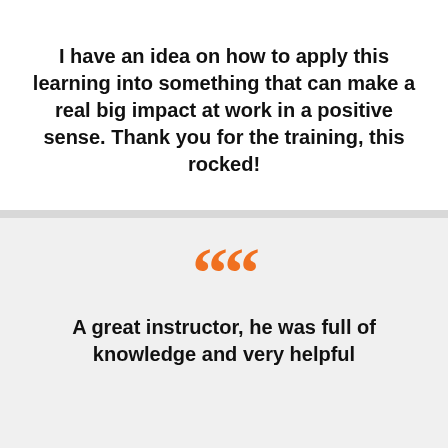I have an idea on how to apply this learning into something that can make a real big impact at work in a positive sense. Thank you for the training, this rocked!
A great instructor, he was full of knowledge and very helpful